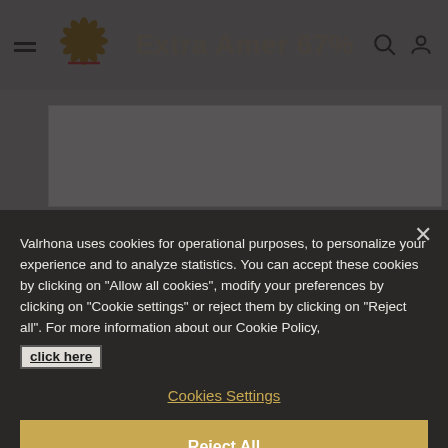[Figure (screenshot): Valrhona website header with logo, hamburger menu, product title 'Extra Amer 67%', search and user icons on gray blurred background]
Valrhona uses cookies for operational purposes, to personalize your experience and to analyze statistics. You can accept these cookies by clicking on "Allow all cookies", modify your preferences by clicking on "Cookie settings" or reject them by clicking on "Reject all". For more information about our Cookie Policy, click here
Cookies Settings
Reject All
Allow all cookies